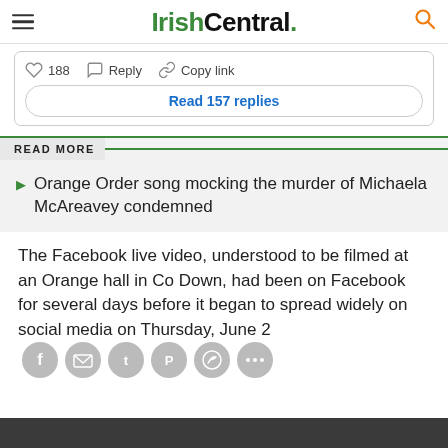IrishCentral.
188   Reply   Copy link
Read 157 replies
READ MORE
Orange Order song mocking the murder of Michaela McAreavey condemned
The Facebook live video, understood to be filmed at an Orange hall in Co Down, had been on Facebook for several days before it began to spread widely on social media on Thursday, June 2